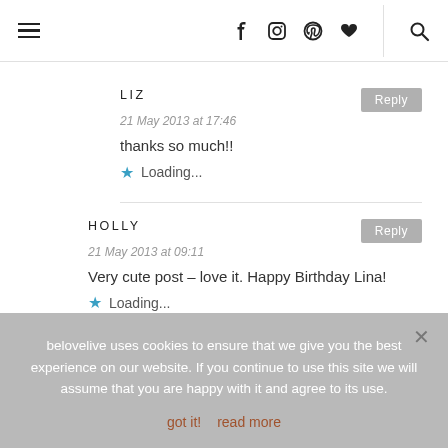Navigation header with hamburger menu, social icons (Facebook, Instagram, Pinterest, heart, search)
LIZ
21 May 2013 at 17:46
thanks so much!!
Loading...
HOLLY
21 May 2013 at 09:11
Very cute post – love it. Happy Birthday Lina!
Loading...
belovelive uses cookies to ensure that we give you the best experience on our website. If you continue to use this site we will assume that you are happy with it and agree to its use.
got it!  read more